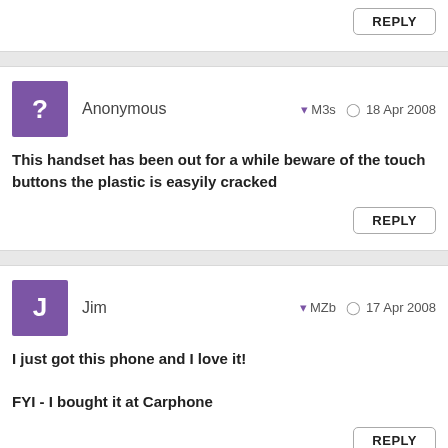REPLY
Anonymous  M3s  18 Apr 2008
This handset has been out for a while beware of the touch buttons the plastic is easyily cracked
REPLY
Jim  MZb  17 Apr 2008
I just got this phone and I love it!

FYI - I bought it at Carphone
REPLY